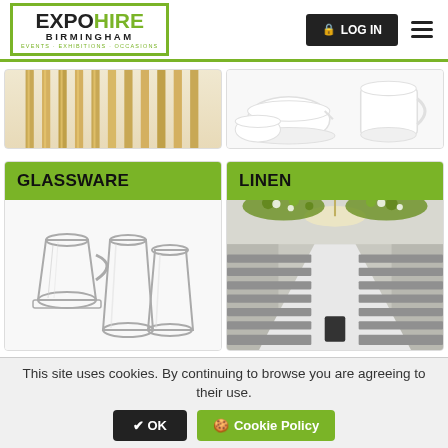[Figure (logo): Expo Hire Birmingham logo with green bracket border and tagline EVENTS · EXHIBITIONS · OCCASIONS]
[Figure (photo): Gold/brass cutlery laid out vertically on a light beige background]
[Figure (photo): White crockery including cups and saucers on white background]
GLASSWARE
[Figure (photo): Collection of clear glass beer mugs and pint glasses]
LINEN
[Figure (photo): Elegant event venue with white chair covers, floral ceiling decoration, chandelier and white aisle]
This site uses cookies. By continuing to browse you are agreeing to their use.